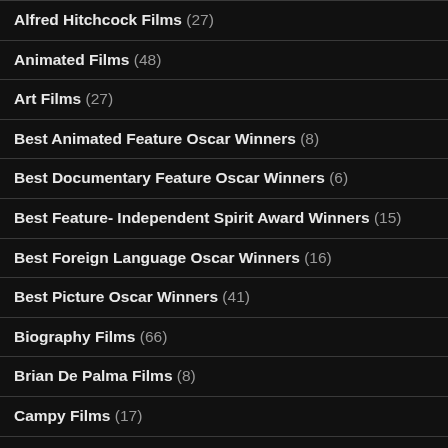Alfred Hitchcock Films (27)
Animated Films (48)
Art Films (27)
Best Animated Feature Oscar Winners (8)
Best Documentary Feature Oscar Winners (6)
Best Feature- Independent Spirit Award Winners (15)
Best Foreign Language Oscar Winners (16)
Best Picture Oscar Winners (41)
Biography Films (66)
Brian De Palma Films (8)
Campy Films (17)
Children's Films (57)